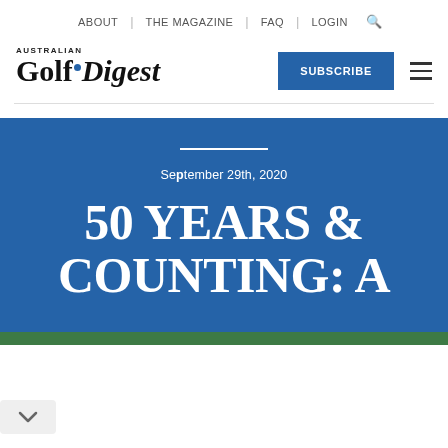ABOUT | THE MAGAZINE | FAQ | LOGIN
[Figure (logo): Australian Golf Digest logo with blue dot between Golf and Digest]
SUBSCRIBE
September 29th, 2020
50 YEARS & COUNTING: A